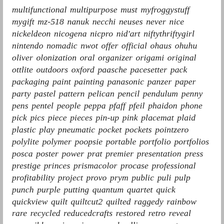multifunctional multipurpose must myfroggystuff mygift mz-518 nanuk necchi neuses never nice nickeldeon nicogena nicpro nid'art niftythriftygirl nintendo nomadic nwot offer official ohaus ohuhu oliver olonization oral organizer origami original ottlite outdoors oxford paasche pacesetter pack packaging paint painting panasonic panzer paper party pastel pattern pelican pencil pendulum penny pens pentel people peppa pfaff pfeil phaidon phone pick pics piece pieces pin-up pink placemat plaid plastic play pneumatic pocket pockets pointzero polylite polymer poopsie portable portfolio portfolios posca poster power prat premier presentation press prestige princes prismacolor procase professional profitability project provo prym public puli pulp punch purple putting quantum quartet quick quickview quilt quiltcut2 quilted raggedy rainbow rare recycled reducedcrafts restored retro reveal reversible review riccar road rolling ross rotor rotring royal rx-607 ryobi safely sailrite sand sandylion sanrio schmincke school scrapbook sculpey sealed sears season segmentations serger sets seweasy sewing shigeru shopcast shopkin shopkins shopping shoulder show shuttle silhouette silouette silver simba simple singer sizzix skein sketch sketching skin slice slime slot small smart snap soho span